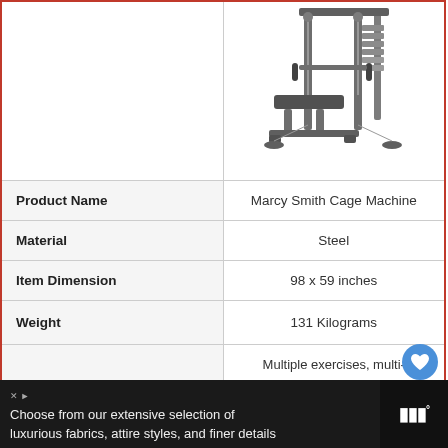[Figure (photo): Marcy Smith Cage Machine gym equipment photo, showing a multi-functional weight machine with bench and metal frame]
|  |  |
| --- | --- |
| Product Name | Marcy Smith Cage Machine |
| Material | Steel |
| Item Dimension | 98 x 59 inches |
| Weight | 131 Kilograms |
| Special Features | Multiple exercises, multi-functional, removable utility bench, adjustable safety stops |
| Interested? | Check Price |
Choose from our extensive selection of luxurious fabrics, attire styles, and finer details